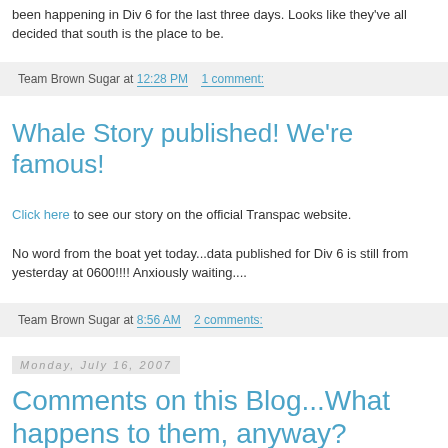been happening in Div 6 for the last three days. Looks like they've all decided that south is the place to be.
Team Brown Sugar at 12:28 PM   1 comment:
Whale Story published! We're famous!
Click here to see our story on the official Transpac website.
No word from the boat yet today...data published for Div 6 is still from yesterday at 0600!!!! Anxiously waiting....
Team Brown Sugar at 8:56 AM   2 comments:
Monday, July 16, 2007
Comments on this Blog...What happens to them, anyway?